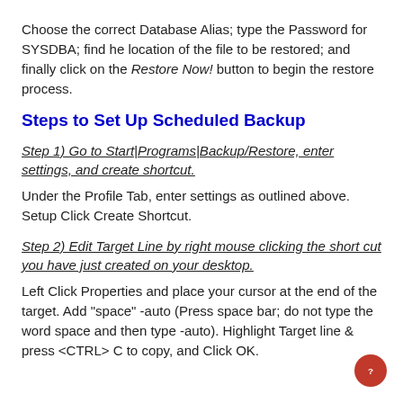Choose the correct Database Alias; type the Password for SYSDBA; find he location of the file to be restored; and finally click on the Restore Now! button to begin the restore process.
Steps to Set Up Scheduled Backup
Step 1) Go to Start|Programs|Backup/Restore, enter settings, and create shortcut.
Under the Profile Tab, enter settings as outlined above. Setup Click Create Shortcut.
Step 2) Edit Target Line by right mouse clicking the short cut you have just created on your desktop.
Left Click Properties and place your cursor at the end of the target. Add "space" -auto (Press space bar; do not type the word space and then type -auto). Highlight Target line & press <CTRL> C to copy, and Click OK.